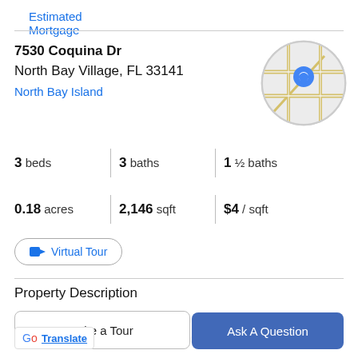Estimated Mortgage
7530 Coquina Dr
North Bay Village, FL 33141
North Bay Island
[Figure (map): Circular map thumbnail showing North Bay Island area with a blue location pin marker]
3 beds | 3 baths | 1 ½ baths
0.18 acres | 2,146 sqft | $4 / sqft
Virtual Tour
Property Description
Welcome to this beautiful GATED community right in the heart of North Bay Island. This 3 bedroom / 3.5 bathroom
Take a Tour
Ask A Question
Translate